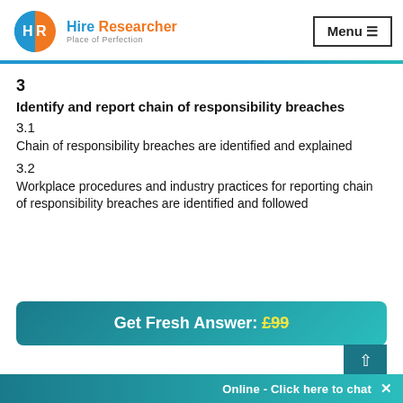Hire Researcher - Place of Perfection | Menu
3
Identify and report chain of responsibility breaches
3.1
Chain of responsibility breaches are identified and explained
3.2
Workplace procedures and industry practices for reporting chain of responsibility breaches are identified and followed
Get Fresh Answer: £99
Online - Click here to chat